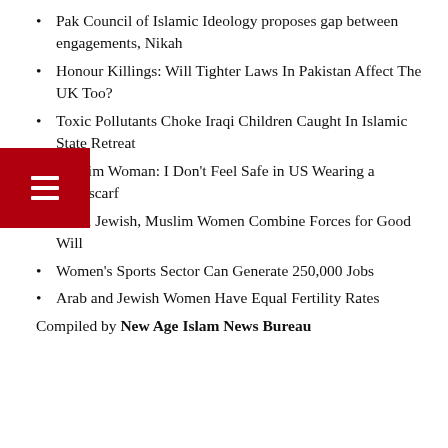Pak Council of Islamic Ideology proposes gap between engagements, Nikah
Honour Killings: Will Tighter Laws In Pakistan Affect The UK Too?
Toxic Pollutants Choke Iraqi Children Caught In Islamic State Retreat
Muslim Woman: I Don't Feel Safe in US Wearing a Headscarf
Local Jewish, Muslim Women Combine Forces for Good Will
Women's Sports Sector Can Generate 250,000 Jobs
Arab and Jewish Women Have Equal Fertility Rates
Compiled by New Age Islam News Bureau